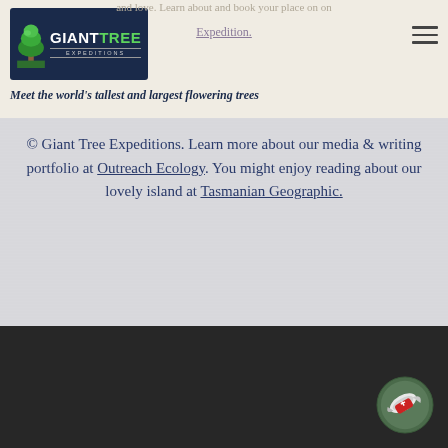Giant Tree Expeditions — Meet the world's tallest and largest flowering trees
and love. Learn about and book your place on an Expedition.
© Giant Tree Expeditions. Learn more about our media & writing portfolio at Outreach Ecology. You might enjoy reading about our lovely island at Tasmanian Geographic.
[Figure (illustration): Dark footer bar with a circular Swiss-army-knife style icon in the bottom right corner]